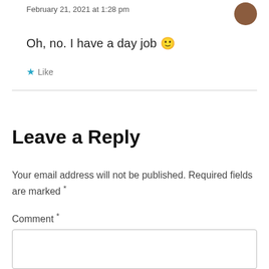February 21, 2021 at 1:28 pm
Oh, no. I have a day job 🙂
★ Like
Leave a Reply
Your email address will not be published. Required fields are marked *
Comment *